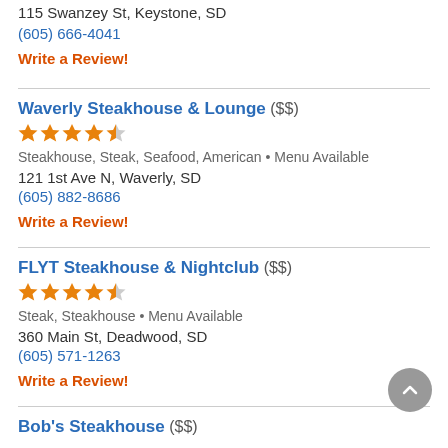115 Swanzey St, Keystone, SD
(605) 666-4041
Write a Review!
Waverly Steakhouse & Lounge ($$)
[Figure (other): 4.5 star rating shown as orange stars]
Steakhouse, Steak, Seafood, American • Menu Available
121 1st Ave N, Waverly, SD
(605) 882-8686
Write a Review!
FLYT Steakhouse & Nightclub ($$)
[Figure (other): 4.5 star rating shown as orange stars]
Steak, Steakhouse • Menu Available
360 Main St, Deadwood, SD
(605) 571-1263
Write a Review!
Bob's Steakhouse ($$)